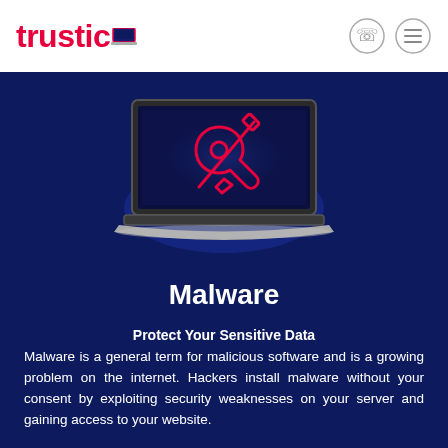trustico
[Figure (illustration): Laptop computer with dark blue screen showing crossed screwdriver and wrench tools icon in red/pink outline style, representing malware/hacking tools]
Malware
Protect Your Sensitive Data
Malware is a general term for malicious software and is a growing problem on the internet. Hackers install malware without your consent by exploiting security weaknesses on your server and gaining access to your website.